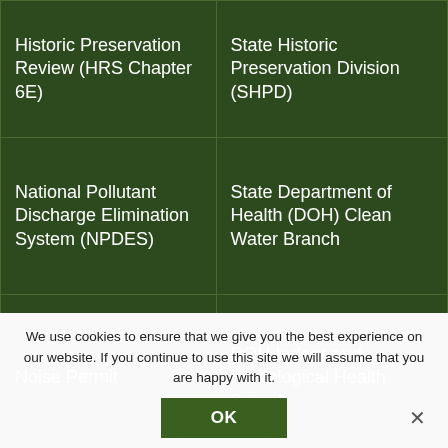| Permit/Review Type | Agency |
| --- | --- |
| Historic Preservation Review (HRS Chapter 6E) | State Historic Preservation Division (SHPD) |
| National Pollutant Discharge Elimination System (NPDES) | State Department of Health (DOH) Clean Water Branch |
| Noise Permit | DOH Indoor and Radiological Health Branch |
| COUNTY
County Special Use Permit | County of Maui Planning Department and Planning Commission |
We use cookies to ensure that we give you the best experience on our website. If you continue to use this site we will assume that you are happy with it.